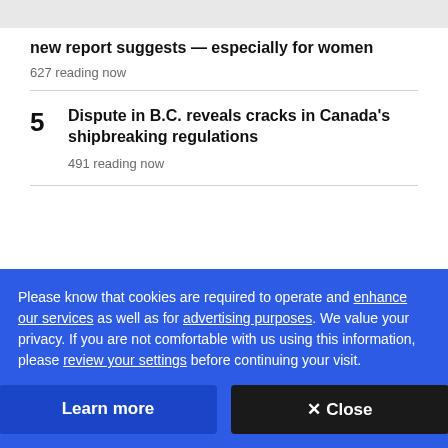new report suggests — especially for women
627 reading now
5  Dispute in B.C. reveals cracks in Canada's shipbreaking regulations
491 reading now
Please know that cookies are required to operate and enhance our services as well as for advertising purposes. We value your privacy. If you are not comfortable with us using this information, please review your settings before continuing your visit.
Learn more
✕ Close